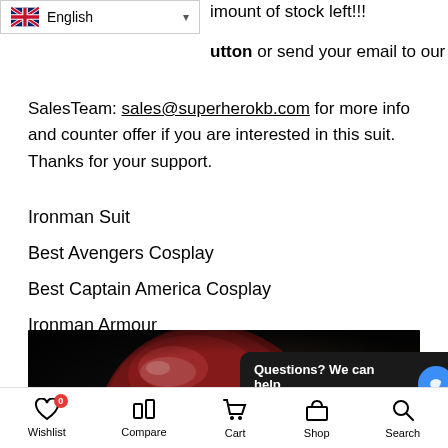imount of stock left!!!
utton or send your email to our SalesTeam: sales@superherokb.com for more info and counter offer if you are interested in this suit. Thanks for your support.
Ironman Suit
Best Avengers Cosplay
Best Captain America Cosplay
Ironman Armour
Iron Man MK7 Suit
Best Iron Man Cosplay
Iron Man Life-size Suit
[Figure (photo): Dark photo of an Iron Man helmet, deep red and black metallic finish, dramatic lighting]
Wishlist  Compare  Cart  Shop  Search